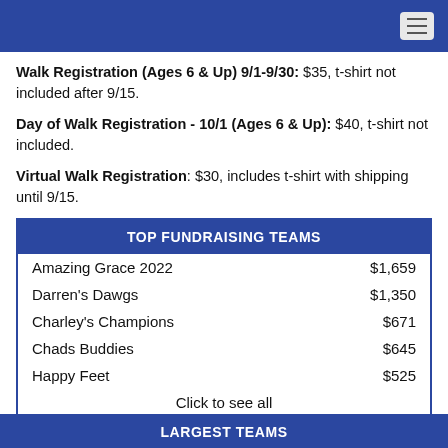Walk Registration (Ages 6 & Up) 9/1-9/30: $35, t-shirt not included after 9/15.
Day of Walk Registration - 10/1 (Ages 6 & Up): $40, t-shirt not included.
Virtual Walk Registration: $30, includes t-shirt with shipping until 9/15.
| Team | Amount |
| --- | --- |
| Amazing Grace 2022 | $1,659 |
| Darren's Dawgs | $1,350 |
| Charley's Champions | $671 |
| Chads Buddies | $645 |
| Happy Feet | $525 |
Click to see all
LARGEST TEAMS